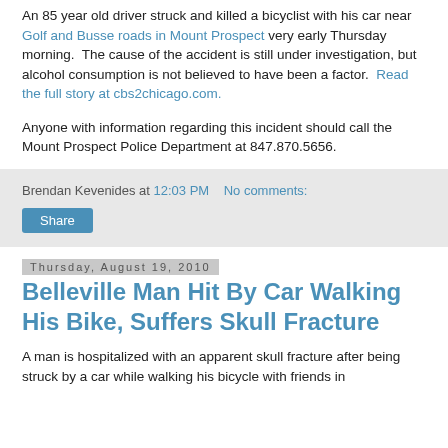An 85 year old driver struck and killed a bicyclist with his car near Golf and Busse roads in Mount Prospect very early Thursday morning.  The cause of the accident is still under investigation, but alcohol consumption is not believed to have been a factor.  Read the full story at cbs2chicago.com.
Anyone with information regarding this incident should call the Mount Prospect Police Department at 847.870.5656.
Brendan Kevenides at 12:03 PM    No comments:
Share
Thursday, August 19, 2010
Belleville Man Hit By Car Walking His Bike, Suffers Skull Fracture
A man is hospitalized with an apparent skull fracture after being struck by a car while walking his bicycle with friends in